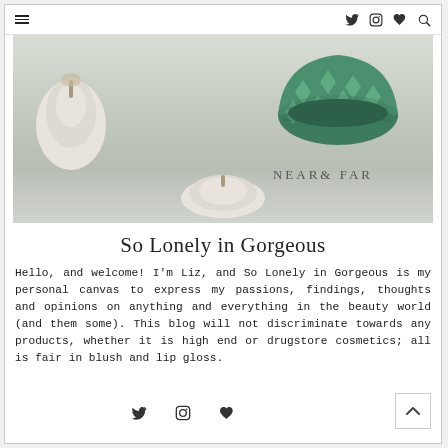≡  🐦 📷 ♥ 🔍
[Figure (photo): Lifestyle photo showing white pumpkins and a teal/green patterned decorative bowl on stacked books, one book spine reading NEAR & FAR]
So Lonely in Gorgeous
Hello, and welcome! I'm Liz, and So Lonely in Gorgeous is my personal canvas to express my passions, findings, thoughts and opinions on anything and everything in the beauty world (and them some). This blog will not discriminate towards any products, whether it is high end or drugstore cosmetics; all is fair in blush and lip gloss.
🐦 📷 ♥